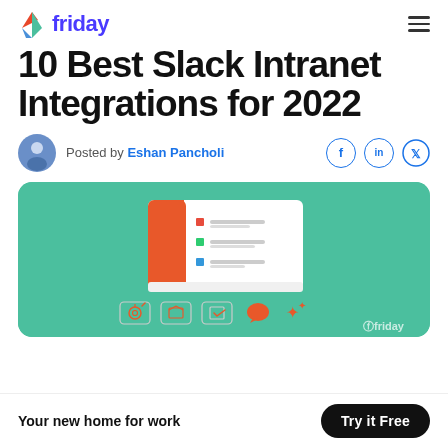friday
10 Best Slack Intranet Integrations for 2022
Posted by Eshan Pancholi
[Figure (illustration): Green banner illustration showing a task list / checklist UI card with an orange sidebar, red, green, and blue list items, and icons below including a target, box, calendar checkbox, speech bubble, and stars. Friday logo in bottom right.]
Your new home for work
Try it Free